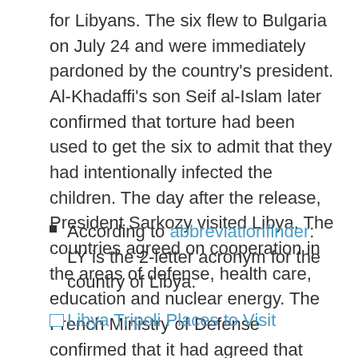for Libyans. The six flew to Bulgaria on July 24 and were immediately pardoned by the country's president. Al-Khadaffi's son Seif al-Islam later confirmed that torture had been used to get the six to admit that they had intentionally infected the children. The day after the release, President Sarkozy visited Libya. The countries agreed on cooperation in the areas of defense, health care, education and nuclear energy. The French Ministry of Defense confirmed that it had agreed that Libya could buy armor-breaking missiles from France.
According to abbreviationfinder: LY is the 2-letter acronym for the country of Libya.
[Figure (other): Image link placeholder with text: Libya Tripoli Places to Visit]